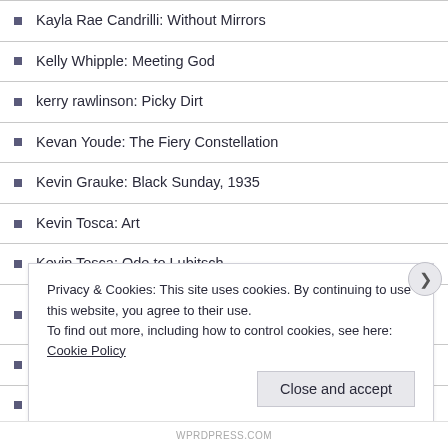Kayla Rae Candrilli: Without Mirrors
Kelly Whipple: Meeting God
kerry rawlinson: Picky Dirt
Kevan Youde: The Fiery Constellation
Kevin Grauke: Black Sunday, 1935
Kevin Tosca: Art
Kevin Tosca: Ode to Lubitsch
Kevin Tosca: Will the Real Ernest Hemingway Please Stand Up?
Kevlin Henney: Marking Loss
Kevlin Henney: Neil Armstrong Jones
Privacy & Cookies: This site uses cookies. By continuing to use this website, you agree to their use.
To find out more, including how to control cookies, see here: Cookie Policy
Close and accept